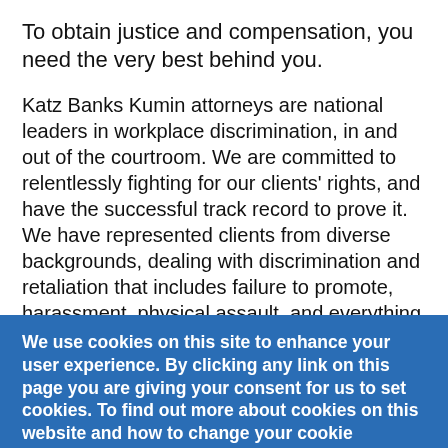To obtain justice and compensation, you need the very best behind you.
Katz Banks Kumin attorneys are national leaders in workplace discrimination, in and out of the courtroom. We are committed to relentlessly fighting for our clients' rights, and have the successful track record to prove it. We have represented clients from diverse backgrounds, dealing with discrimination and retaliation that includes failure to promote, harassment, physical assault, and everything in between. We are recognized as tough negotiators in settlement negotiations and in mediations, and when needed, we are highly respected trial attorneys for claims that must be resolved before a jury.
We use cookies on this site to enhance your user experience. By clicking any link on this page you are giving your consent for us to set cookies. To find out more about cookies on this website and how to change your cookie settings, see our Privacy Policy.